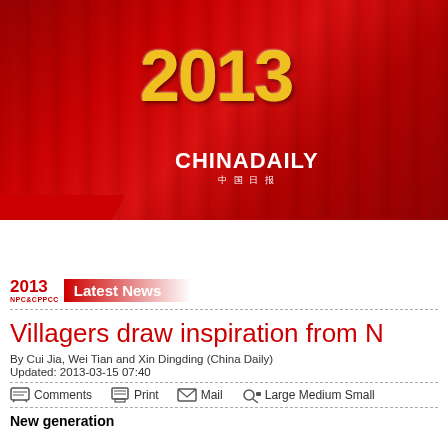[Figure (screenshot): China Daily website header banner with red background, gold '2013' text, 'CHINADAILY' logo, partial 'NPC' text in gold on right]
Home | Latest News | Economic Pulse | Work Rep...
2013 NPC&CPPCC Latest News
Villagers draw inspiration from ...
By Cui Jia, Wei Tian and Xin Dingding (China Daily)
Updated: 2013-03-15 07:40
Comments  Print  Mail  Large Medium Small
New generation